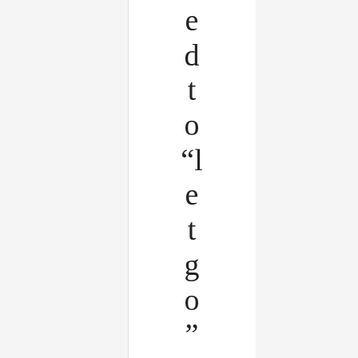d t o “l e t g o,” o f t w o p e o p l e w h